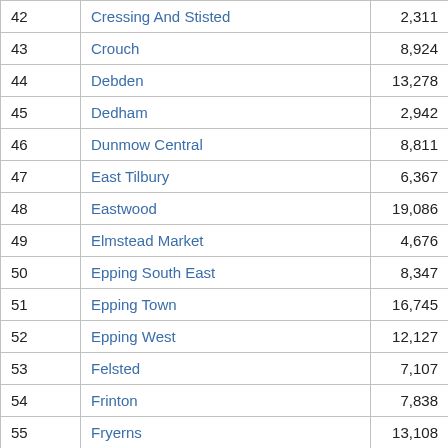| 42 | Cressing And Stisted | 2,311 |
| 43 | Crouch | 8,924 |
| 44 | Debden | 13,278 |
| 45 | Dedham | 2,942 |
| 46 | Dunmow Central | 8,811 |
| 47 | East Tilbury | 6,367 |
| 48 | Eastwood | 19,086 |
| 49 | Elmstead Market | 4,676 |
| 50 | Epping South East | 8,347 |
| 51 | Epping Town | 16,745 |
| 52 | Epping West | 12,127 |
| 53 | Felsted | 7,107 |
| 54 | Frinton | 7,838 |
| 55 | Fryerns | 13,108 |
| 56 | Goat Hall | 11,357 |
| 57 | Grays Central | 9,055 |